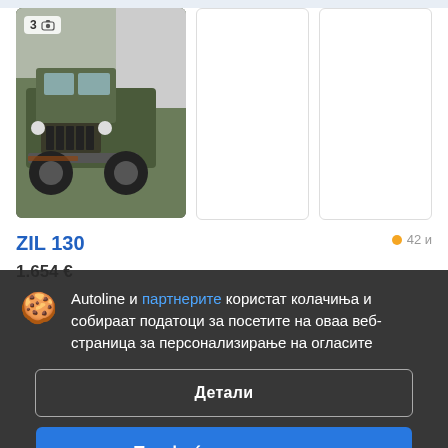[Figure (photo): Military green truck (ZIL 130) front view, parked outdoors. Badge showing '3' and camera icon in top-left corner of thumbnail.]
ZIL 130
42 и
Autoline и партнерите користат колачиња и собираат податоци за посетите на оваа веб-страница за персонализирање на огласите
Детали
Прифаќам и затвори